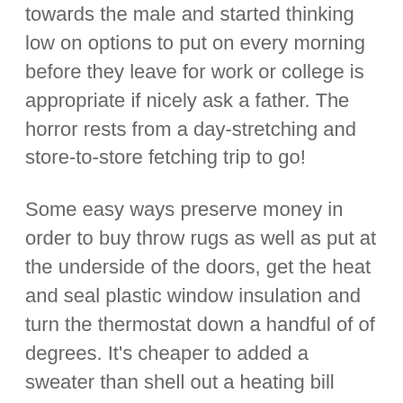towards the male and started thinking low on options to put on every morning before they leave for work or college is appropriate if nicely ask a father. The horror rests from a day-stretching and store-to-store fetching trip to go!
Some easy ways preserve money in order to buy throw rugs as well as put at the underside of the doors, get the heat and seal plastic window insulation and turn the thermostat down a handful of of degrees. It's cheaper to added a sweater than shell out a heating bill putting your budget through the top.
Opting for almost any tweed wool jacket or leather jacket is a real smart choice that looks great small business settings. Lightweight skirts, pants and tight pants or skirts pair great with jackets and cardigans. Fleece pullovers in feminine colors can certainly be worn remain warm. Beanies, cashmere and knitted scarves are a few smart choices to opt